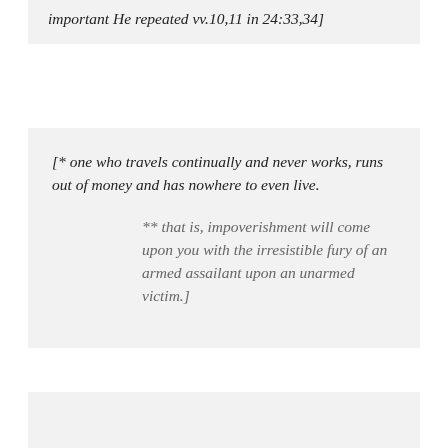important He repeated vv.10,11 in 24:33,34]
[* one who travels continually and never works, runs out of money and has nowhere to even live.
** that is, impoverishment will come upon you with the irresistible fury of an armed assailant upon an unarmed victim.]